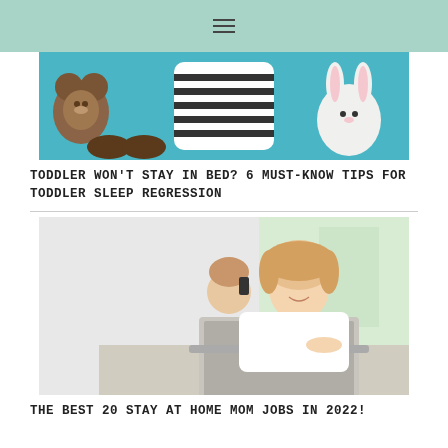≡
[Figure (photo): Baby/toddler toys laid flat on a teal background — stuffed bear, striped onesie, white bunny plush]
TODDLER WON'T STAY IN BED? 6 MUST-KNOW TIPS FOR TODDLER SLEEP REGRESSION
[Figure (photo): Smiling blonde mother working on a laptop while toddler plays with a phone behind her, bright white background]
THE BEST 20 STAY AT HOME MOM JOBS IN 2022!